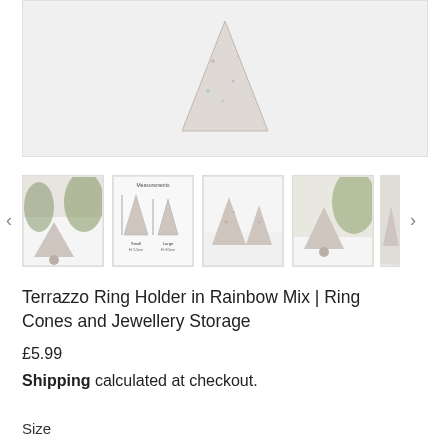[Figure (photo): Main product image area showing terrazzo ring holder cone, light grey/white background]
[Figure (photo): Thumbnail 1: terrazzo ring cone with greenery in background]
[Figure (photo): Thumbnail 2: measurements diagram showing two terrazzo ring cones]
[Figure (photo): Thumbnail 3: two terrazzo ring cones together]
[Figure (photo): Thumbnail 4: single terrazzo ring cone with greenery]
[Figure (photo): Thumbnail 5: partially visible cone]
Terrazzo Ring Holder in Rainbow Mix | Ring Cones and Jewellery Storage
£5.99
Shipping calculated at checkout.
Size